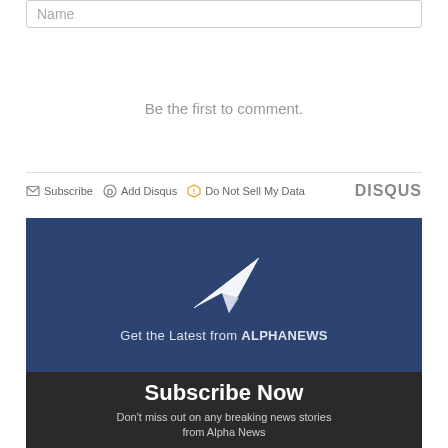Name
Be the first to comment.
Subscribe  Add Disqus  Do Not Sell My Data  DISQUS
[Figure (infographic): Blue background panel with a white paper airplane icon and text 'Get the Latest from ALPHANEWS']
Subscribe Now
Don't miss out on any breaking news stories from Alpha News